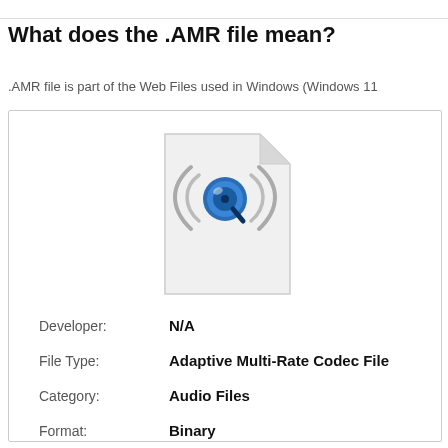What does the .AMR file mean?
.AMR file is part of the Web Files used in Windows (Windows 11
[Figure (illustration): A file icon showing a document with a curled top-right corner, containing a QuickTime-style speaker/audio icon with sound waves in the center.]
| Developer: | N/A |
| File Type: | Adaptive Multi-Rate Codec File |
| Category: | Audio Files |
| Format: | Binary |